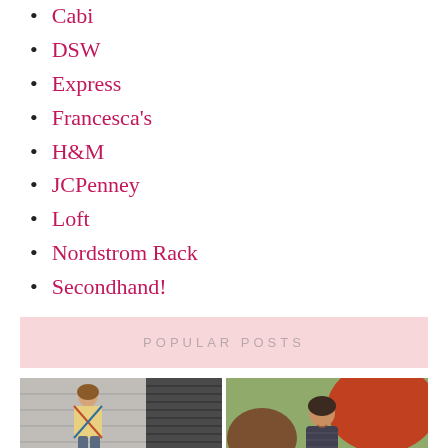Cabi
DSW
Express
Francesca's
H&M
JCPenney
Loft
Nordstrom Rack
Secondhand!
POPULAR POSTS
[Figure (photo): Young woman in argyle sweater and jeans holding a round bag, standing against a brick and metal shutter wall]
[Figure (photo): Young woman in a dark patterned top standing outdoors with autumn trees in background]